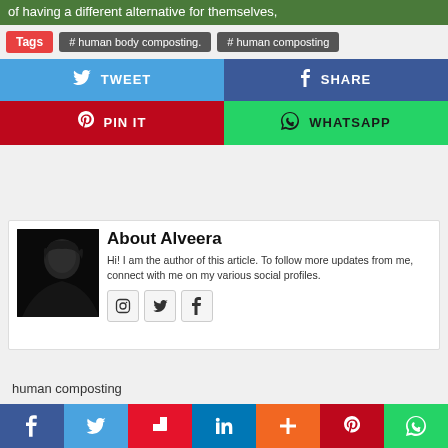of having a different alternative for themselves,
Tags  # human body composting.  # human composting
[Figure (infographic): Social sharing buttons: TWEET (Twitter/blue), SHARE (Facebook/dark blue), PIN IT (Pinterest/red), WHATSAPP (green)]
[Figure (photo): Black and white photo of a woman with curly hair looking to the side]
About Alveera
Hi! I am the author of this article. To follow more updates from me, connect with me on my various social profiles.
[Figure (infographic): Author social profile icons: Instagram, Twitter, Facebook]
human composting
[Figure (infographic): Bottom sharing bar with icons: Facebook, Twitter, Flipboard, LinkedIn, Plus, Pinterest, WhatsApp]